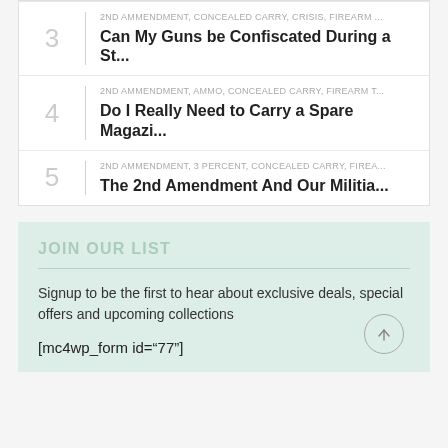3 | 2ND AMMENDMENT, CONCEALED CARRY, CRISIS, FIREARM ... Can My Guns be Confiscated During a St...
4 | 2ND AMMENDMENT, AMMO, CONCEALED CARRY, FIREARM T... Do I Really Need to Carry a Spare Magazi...
5 | 2ND AMMENDMENT, 3 PERCENT, CONCEALED CARRY, FIREA... The 2nd Amendment And Our Militia...
JOIN OUR LIST
Signup to be the first to hear about exclusive deals, special offers and upcoming collections
[mc4wp_form id="77"]